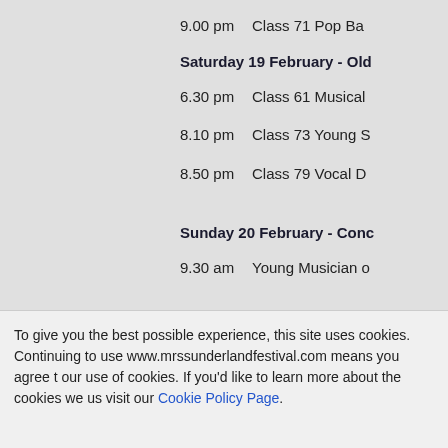9.00 pm    Class 71 Pop Ba…
Saturday 19 February - Old…
6.30 pm    Class 61 Musical…
8.10 pm    Class 73 Young S…
8.50 pm    Class 79 Vocal D…
Sunday 20 February - Conc…
9.30 am    Young Musician o…
To give you the best possible experience, this site uses cookies. Continuing to use www.mrssunderlandfestival.com means you agree to our use of cookies. If you'd like to learn more about the cookies we use, visit our Cookie Policy Page.